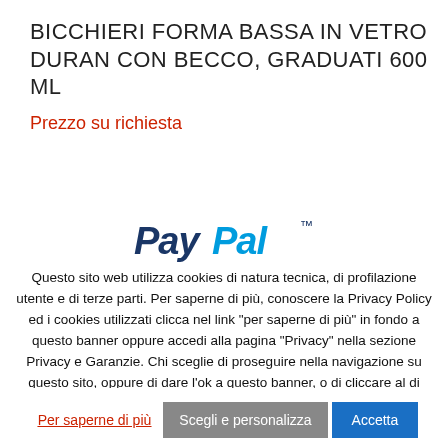BICCHIERI FORMA BASSA IN VETRO DURAN CON BECCO, GRADUATI 600 ML
Prezzo su richiesta
[Figure (logo): PayPal logo in dark blue bold italic text with trademark symbol]
Questo sito web utilizza cookies di natura tecnica, di profilazione utente e di terze parti. Per saperne di più, conoscere la Privacy Policy ed i cookies utilizzati clicca nel link "per saperne di più" in fondo a questo banner oppure accedi alla pagina "Privacy" nella sezione Privacy e Garanzie. Chi sceglie di proseguire nella navigazione su questo sito, oppure di dare l'ok a questo banner, o di cliccare al di fuori di esso, acconsente all'uso dei cookies.
Per saperne di più  |  Scegli e personalizza  |  Accetta